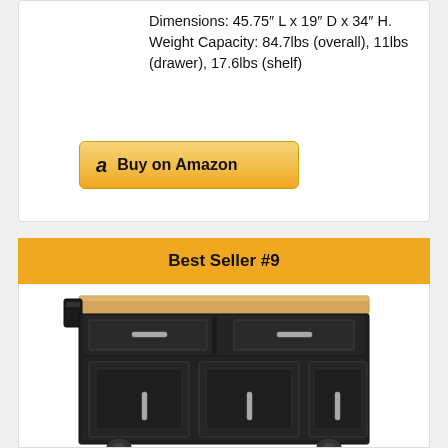Dimensions: 45.75″ L x 19″ D x 34″ H. Weight Capacity: 84.7lbs (overall), 11lbs (drawer), 17.6lbs (shelf)
[Figure (other): Buy on Amazon button with Amazon logo]
Best Seller #9
[Figure (photo): Black kitchen island cart with natural wood top, two drawers, three cabinet doors with silver handles, and four caster wheels]